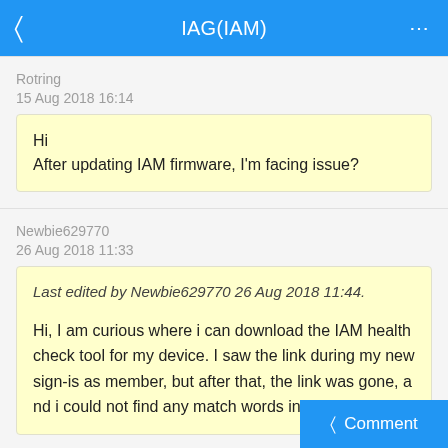IAG(IAM)
Rotring
15 Aug 2018 16:14
Hi
After updating IAM firmware, I'm facing issue?
Newbie629770
26 Aug 2018 11:33
Last edited by Newbie629770 26 Aug 2018 11:44.

Hi, I am curious where i can download the IAM health check tool for my device. I saw the link during my new sign-is as member, but after that, the link was gone, and i could not find any match words in entire Sangfor